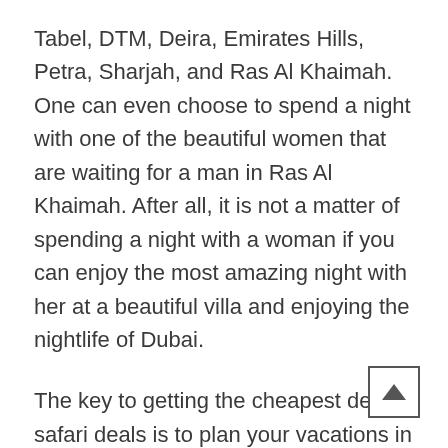Tabel, DTM, Deira, Emirates Hills, Petra, Sharjah, and Ras Al Khaimah. One can even choose to spend a night with one of the beautiful women that are waiting for a man in Ras Al Khaimah. After all, it is not a matter of spending a night with a woman if you can enjoy the most amazing night with her at a beautiful villa and enjoying the nightlife of Dubai.
The key to getting the cheapest desert safari deals is to plan your vacations in Dubai well in advance. Also, you should be very cautious when planning your trip to Dubai, since there are certain things that are important when you are planning your vacation and desert safari Abu Dhabi is no exception. The most important thing to note is that you must book the cheapest desert safari Dubai for your vacation, and there are times when you can still enjoy a nice